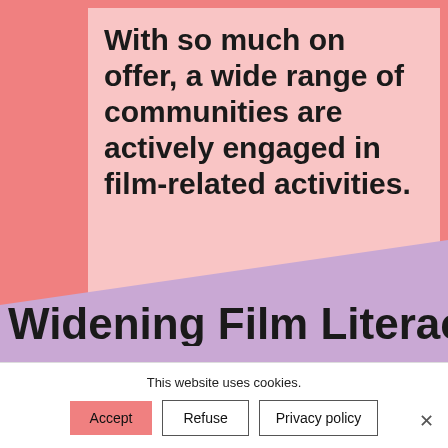[Figure (illustration): Salmon/coral background with a light pink rectangular box containing a bold quote, and a diagonal purple band at the bottom with a partially visible bold section title 'Widening Film Literacy']
With so much on offer, a wide range of communities are actively engaged in film-related activities.
Widening Film Literacy
This website uses cookies.
Accept | Refuse | Privacy policy